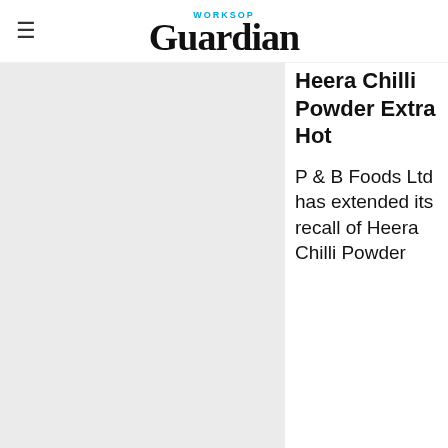WORKSOP Guardian
Heera Chilli Powder Extra Hot
P & B Foods Ltd has extended its recall of Heera Chilli Powder Extra Hot to include an additional pack size, because aflatoxins has been found in the product.
[Figure (photo): Photograph placeholder area (light gray) with partial image of yellow flowers visible at bottom left, overlaid by advertisement banner]
[Figure (other): Advertisement banner: Purchasers of certain Roundup®, HDX®, or Ace® brand weed killer may be eligible for a cash payment from a class action settlement. Visit www.WeedKillerAdSettlement.com to learn more.]